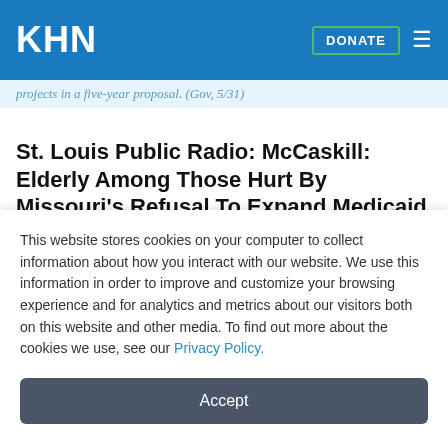KHN
projects in a five-year proposal. (Gov, 5/31)
St. Louis Public Radio: McCaskill: Elderly Among Those Hurt By Missouri's Refusal To Expand Medicaid
As U.S. Sen. Claire McCaskill sees it, the Missouri General Assembly will be sharing more of the blame as the state's medical professionals find it more difficult to provide the services and funding needed to care for Missouri's growing
This website stores cookies on your computer to collect information about how you interact with our website. We use this information in order to improve and customize your browsing experience and for analytics and metrics about our visitors both on this website and other media. To find out more about the cookies we use, see our Privacy Policy.